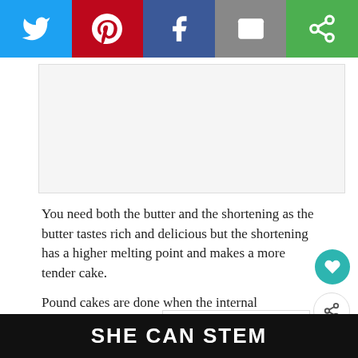[Figure (infographic): Social media share bar with Twitter (blue), Pinterest (red), Facebook (dark blue), Email (grey), and a green share icon button]
[Figure (other): Advertisement placeholder box, light grey with border]
You need both the butter and the shortening as the butter tastes rich and delicious but the shortening has a higher melting point and makes a more tender cake.
Pound cakes are done when the internal temperature reaches 205-210 degrees. Because pound cakes are so easy to over-cook, I use an instant-read thermometer to check mine (they're
[Figure (other): WHAT'S NEXT arrow widget showing Chocolate Pound Cake with a thumbnail image]
SHE CAN STEM